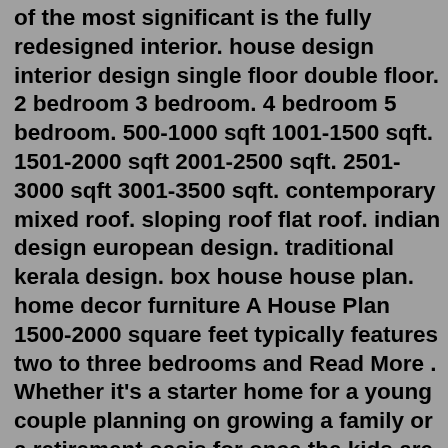of the most significant is the fully redesigned interior. house design interior design single floor double floor. 2 bedroom 3 bedroom. 4 bedroom 5 bedroom. 500-1000 sqft 1001-1500 sqft. 1501-2000 sqft 2001-2500 sqft. 2501-3000 sqft 3001-3500 sqft. contemporary mixed roof. sloping roof flat roof. indian design european design. traditional kerala design. box house house plan. home decor furniture A House Plan 1500-2000 square feet typically features two to three bedrooms and Read More . Whether it's a starter home for a young couple planning on growing a family or a retirement oasis for once the kids are fully grown and gone, House Plans 1500-2000 square feet are an affordable and versatile option. The smaller total square footage of ...HGTV Magazine is here with some tips on how to use even the most vibrant colors around your house. Our Latest Decorating Ideas. ... The Best Interior Design Books of 2021 Dec 15, 2021. By: Katie Friedman. 12 Cozy + Neutral Decor Finds to Shop for Winter Jan 24, 2022. By: ...2022 interior